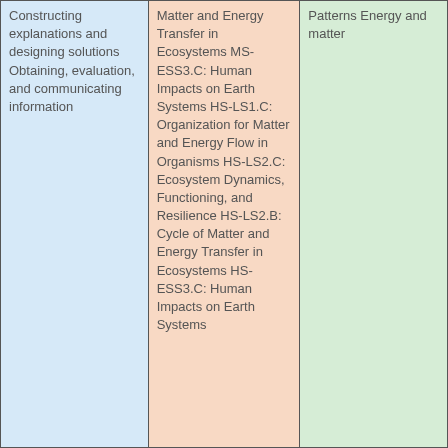| Constructing explanations and designing solutions
Obtaining, evaluation, and communicating information | Matter and Energy Transfer in Ecosystems
MS-ESS3.C: Human Impacts on Earth Systems
HS-LS1.C: Organization for Matter and Energy Flow in Organisms
HS-LS2.C: Ecosystem Dynamics, Functioning, and Resilience
HS-LS2.B: Cycle of Matter and Energy Transfer in Ecosystems
HS-ESS3.C: Human Impacts on Earth Systems | Patterns
Energy and matter |